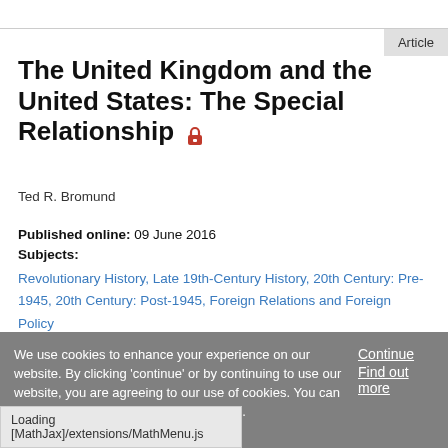The United Kingdom and the United States: The Special Relationship 🔒
Ted R. Bromund
Published online: 09 June 2016
Subjects: Revolutionary History, Late 19th-Century History, 20th Century: Pre-1945, 20th Century: Post-1945, Foreign Relations and Foreign Policy
We use cookies to enhance your experience on our website. By clicking 'continue' or by continuing to use our website, you are agreeing to our use of cookies. You can change your cookie settings at any time.
Continue Find out more
Loading [MathJax]/extensions/MathMenu.js